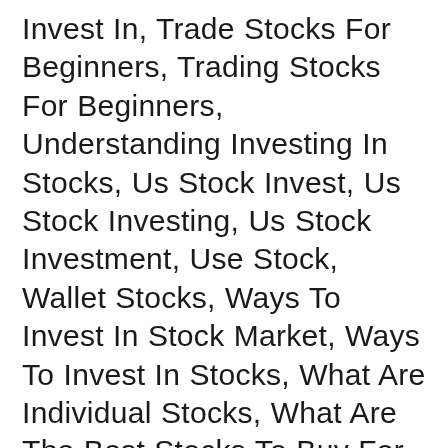Invest In, Trade Stocks For Beginners, Trading Stocks For Beginners, Understanding Investing In Stocks, Us Stock Invest, Us Stock Investing, Us Stock Investment, Use Stock, Wallet Stocks, Ways To Invest In Stock Market, Ways To Invest In Stocks, What Are Individual Stocks, What Are The Best Stocks To Buy For Beginners, What Are The Requirments To Getting Into The Stock Market, What Are The Safest Stocks To Invest In, What Do I Need To Invest In Stocks, What Do I Need To Start Investing In Stocks, What Do You Need To Invest In Stocks, What Do You Need To Start Investing In Stocks, What Does Investing In Stocks Do, What Is A Stock